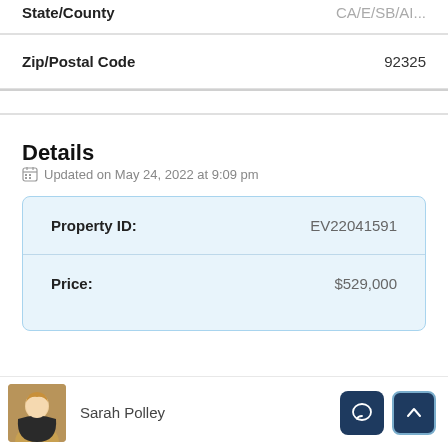| Field | Value |
| --- | --- |
| State/County | CA/SB/I/... |
| Zip/Postal Code | 92325 |
Details
Updated on May 24, 2022 at 9:09 pm
| Field | Value |
| --- | --- |
| Property ID: | EV22041591 |
| Price: | $529,000 |
Sarah Polley